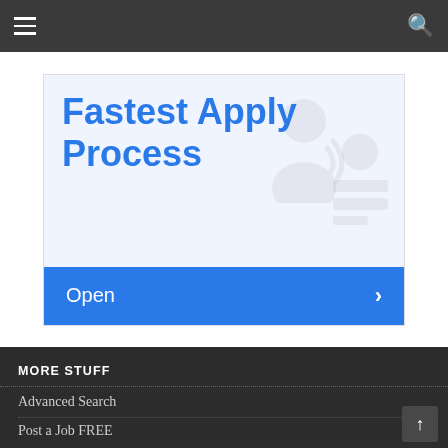Navigation bar with hamburger menu and search icon
[Figure (infographic): Job board advertisement banner showing 'Fastest Apply Process' text in blue on white background with ghost person icons, and a blue 'Open >' button at the bottom]
MORE STUFF
Advanced Search
Post a Job FREE
Recruiter (Bulk) Pricing
Candidate Panel